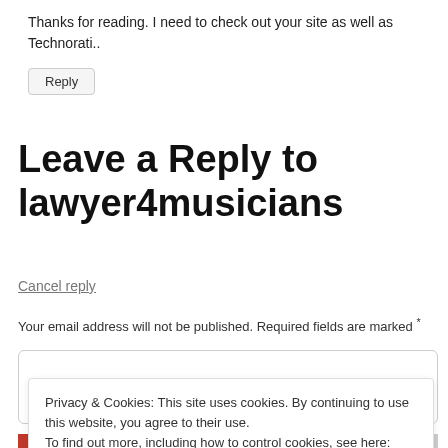Thanks for reading. I need to check out your site as well as Technorati..
Reply
Leave a Reply to lawyer4musicians
Cancel reply
Your email address will not be published. Required fields are marked *
Privacy & Cookies: This site uses cookies. By continuing to use this website, you agree to their use. To find out more, including how to control cookies, see here: Cookie Policy
Close and accept